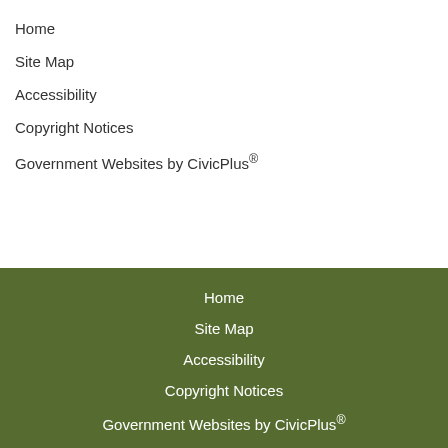Home
Site Map
Accessibility
Copyright Notices
Government Websites by CivicPlus®
Home
Site Map
Accessibility
Copyright Notices
Government Websites by CivicPlus®